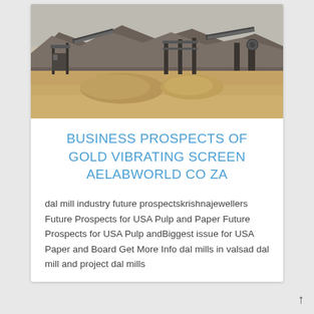[Figure (photo): Mining/quarry site with heavy machinery, conveyor belts, and piles of earth/sand in a dusty arid landscape with mountains in the background.]
BUSINESS PROSPECTS OF GOLD VIBRATING SCREEN AELABWORLD CO ZA
dal mill industry future prospectskrishnajewellers Future Prospects for USA Pulp and Paper Future Prospects for USA Pulp andBiggest issue for USA Paper and Board Get More Info dal mills in valsad dal mill and project dal mills